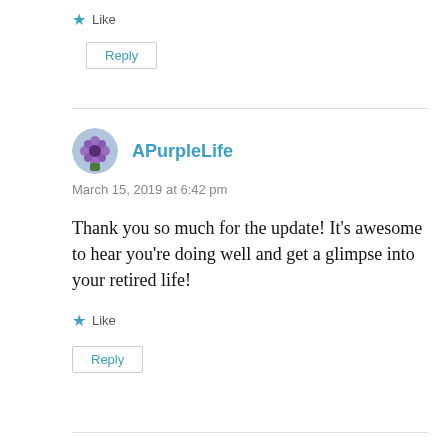★ Like
Reply
APurpleLife
March 15, 2019 at 6:42 pm
Thank you so much for the update! It's awesome to hear you're doing well and get a glimpse into your retired life!
★ Like
Reply